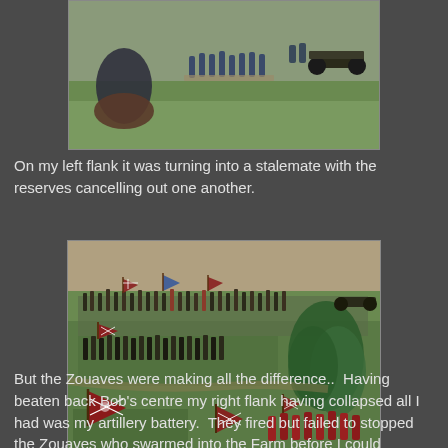[Figure (photo): Photo of painted miniature Civil War soldiers on a wargaming table, cropped at the top showing cavalry and artillery pieces on a green battlefield mat.]
On my left flank it was turning into a stalemate with the reserves cancelling out one another.
[Figure (photo): Photo of a Civil War wargame tabletop showing massed Confederate infantry with Confederate battle flags facing Union troops, with trees and terrain features visible.]
But the Zouaves were making all the difference..  Having beaten back Bob's centre my right flank having collapsed all I had was my artillery battery.  They fired but failed to stopped the Zouaves who swarmed into the Farm before I could